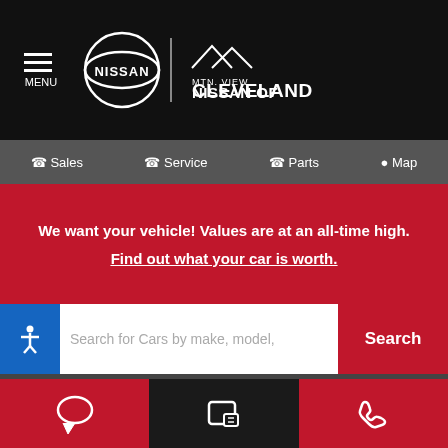[Figure (logo): Nissan and Mtn. View Nissan of Cleveland logo on black header bar with hamburger menu icon]
Sales  Service  Parts  Map
We want your vehicle! Values are at an all-time high. Find out what your car is worth.
[Figure (screenshot): Search bar with placeholder text 'Search for Cars by make, model,' and a red Search button, with blue accessibility icon on left]
[Figure (logo): fusionZONE Automotive logo on dark background]
© 2022 fusionZONE Automotive, LLC. Responsive Automotive Dealer Websites by fusionZONE Automotive
[Figure (screenshot): Bottom navigation bar with chat, text message, and phone icons]